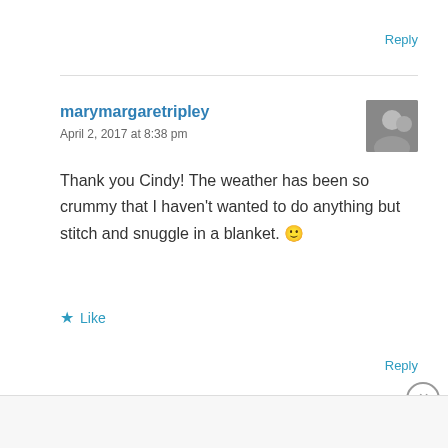Reply
marymargaretripley
April 2, 2017 at 8:38 pm
[Figure (photo): User avatar photo showing two people]
Thank you Cindy! The weather has been so crummy that I haven't wanted to do anything but stitch and snuggle in a blanket. 🙂
Like
Reply
Advertisements
[Figure (screenshot): Day One app advertisement banner: Your Journal for life]